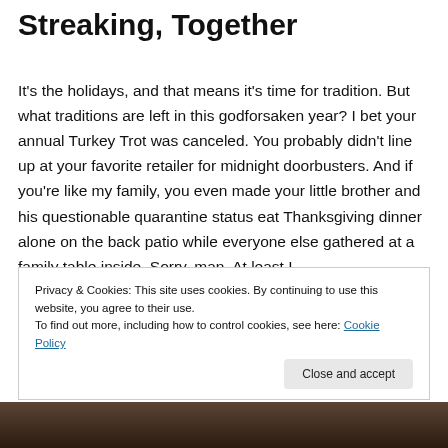Streaking, Together
It's the holidays, and that means it's time for tradition. But what traditions are left in this godforsaken year? I bet your annual Turkey Trot was canceled. You probably didn't line up at your favorite retailer for midnight doorbusters. And if you're like my family, you even made your little brother and his questionable quarantine status eat Thanksgiving dinner alone on the back patio while everyone else gathered at a family table inside. Sorry, man. At least I brought you wine.
Privacy & Cookies: This site uses cookies. By continuing to use this website, you agree to their use.
To find out more, including how to control cookies, see here: Cookie Policy
[Figure (photo): Photo strip at the bottom of the page showing partial images of people]